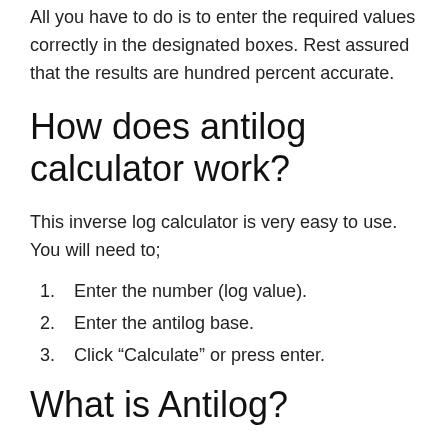All you have to do is to enter the required values correctly in the designated boxes. Rest assured that the results are hundred percent accurate.
How does antilog calculator work?
This inverse log calculator is very easy to use. You will need to;
Enter the number (log value).
Enter the antilog base.
Click “Calculate” or press enter.
What is Antilog?